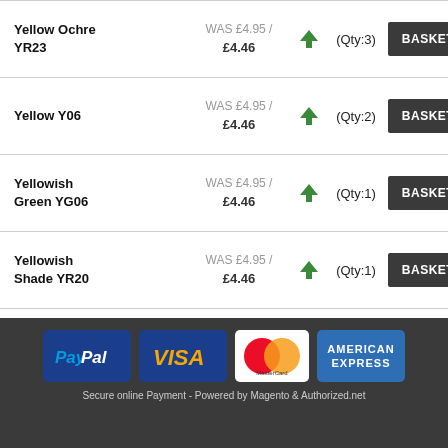Yellow Ochre YR23 | WAS £4.95 / £4.46 | (Qty:3) | BASKET
Yellow Y06 | WAS £4.95 / £4.46 | (Qty:2) | BASKET
Yellowish Green YG06 | WAS £4.95 / £4.46 | (Qty:1) | BASKET
Yellowish Shade YR20 | WAS £4.95 / £4.46 | (Qty:1) | BASKET
Yellowish Skin Pink YR61 | WAS £4.95 / £4.46 | (Qty:3) | BASKET
0
[Figure (other): Payment method logos: PayPal, VISA, MasterCard, American Express on dark background]